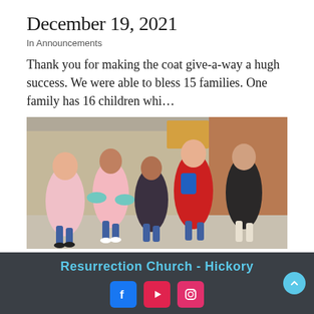December 19, 2021
In Announcements
Thank you for making the coat give-a-way a hugh success. We were able to bless 15 families. One family has 16 children whi…
[Figure (photo): Group of young children running outdoors, wearing winter coats and backpacks, smiling and running toward the camera near a brick building.]
0  0  481
Resurrection Church - Hickory